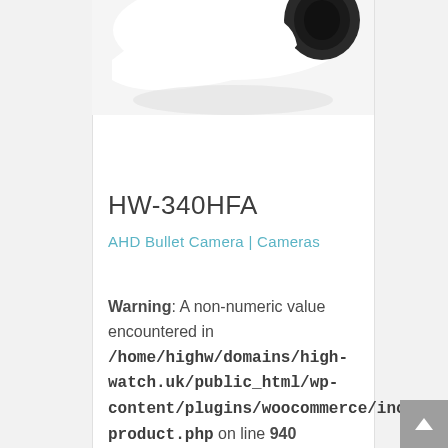[Figure (photo): Partial view of a white and black AHD bullet security camera, cropped at the top of the page]
HW-340HFA
AHD Bullet Camera | Cameras
Warning: A non-numeric value encountered in /home/highw/domains/high-watch.uk/public_html/wp-content/plugins/woocommerce/includes/wc-product.php on line 940